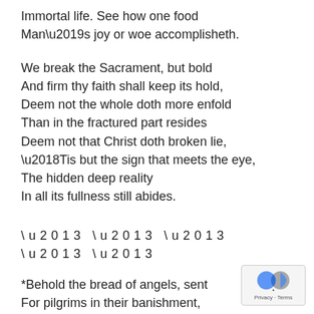Immortal life. See how one food
Man’s joy or woe accomplisheth.
We break the Sacrament, but bold
And firm thy faith shall keep its hold,
Deem not the whole doth more enfold
Than in the fractured part resides
Deem not that Christ doth broken lie,
‘Tis but the sign that meets the eye,
The hidden deep reality
In all its fullness still abides.
– – – – –
*Behold the bread of angels, sent
For pilgrims in their banishment,
The bread for God’s true children meant,
That may not unto dogs be given:
Oft in the olden types foreshowed;